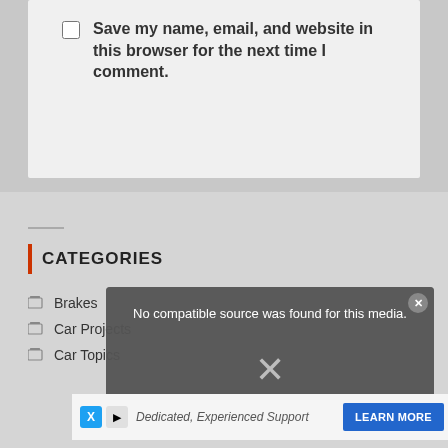Save my name, email, and website in this browser for the next time I comment.
POST COMMENT
CATEGORIES
Brakes
Car Projects
Car Topics
[Figure (screenshot): Video player overlay showing 'No compatible source was found for this media.' with a close button and X icon, overlaying car-related content with a blue 'LEARN MORE' button]
Dedicated, Experienced Support